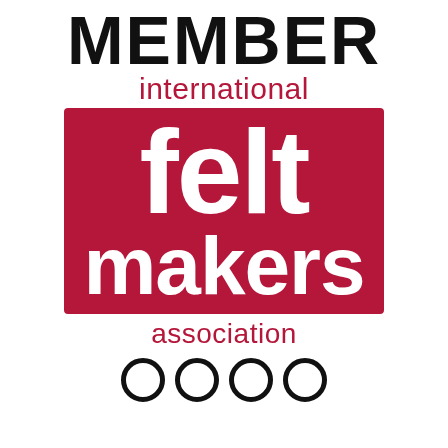[Figure (logo): International Feltmakers Association member logo. Text reads: MEMBER (large black bold), international (red), felt makers (large white on red block), association (red), followed by row of black circles at bottom.]